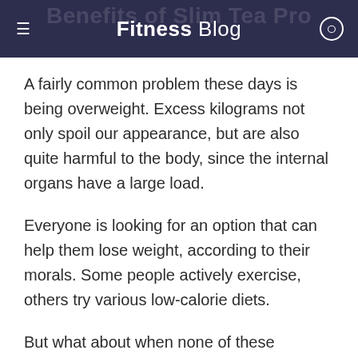Fitness Blog
A fairly common problem these days is being overweight. Excess kilograms not only spoil our appearance, but are also quite harmful to the body, since the internal organs have a large load.
Everyone is looking for an option that can help them lose weight, according to their morals. Some people actively exercise, others try various low-calorie diets.
But what about when none of these methods work or is too slow? There is another great option, which is discussed in this article.
Natural complex Slim Tea Pro will help everyone to lose those extra pounds. With this remedy, you will find the